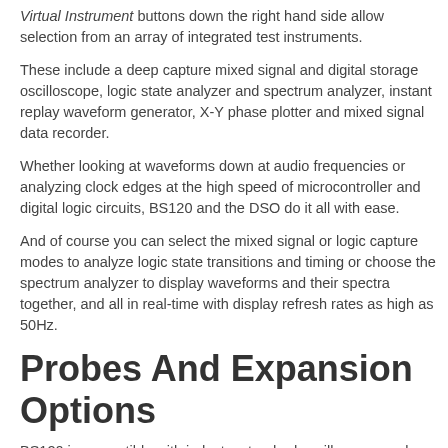Virtual Instrument buttons down the right hand side allow selection from an array of integrated test instruments.
These include a deep capture mixed signal and digital storage oscilloscope, logic state analyzer and spectrum analyzer, instant replay waveform generator, X-Y phase plotter and mixed signal data recorder.
Whether looking at waveforms down at audio frequencies or analyzing clock edges at the high speed of microcontroller and digital logic circuits, BS120 and the DSO do it all with ease.
And of course you can select the mixed signal or logic capture modes to analyze logic state transitions and timing or choose the spectrum analyzer to display waveforms and their spectra together, and all in real-time with display refresh rates as high as 50Hz.
Probes And Expansion Options
BS120 is compatible with industry standard oscilloscope probes. PRB-01 (pictured here) is the best choice for general